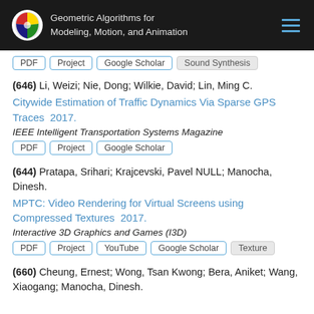Geometric Algorithms for Modeling, Motion, and Animation
PDF | Project | Google Scholar | Sound Synthesis
(646) Li, Weizi; Nie, Dong; Wilkie, David; Lin, Ming C.
Citywide Estimation of Traffic Dynamics Via Sparse GPS Traces  2017.
IEEE Intelligent Transportation Systems Magazine
PDF | Project | Google Scholar
(644) Pratapa, Srihari; Krajcevski, Pavel NULL; Manocha, Dinesh.
MPTC: Video Rendering for Virtual Screens using Compressed Textures  2017.
Interactive 3D Graphics and Games (I3D)
PDF | Project | YouTube | Google Scholar | Texture
(660) Cheung, Ernest; Wong, Tsan Kwong; Bera, Aniket; Wang, Xiaogang; Manocha, Dinesh.